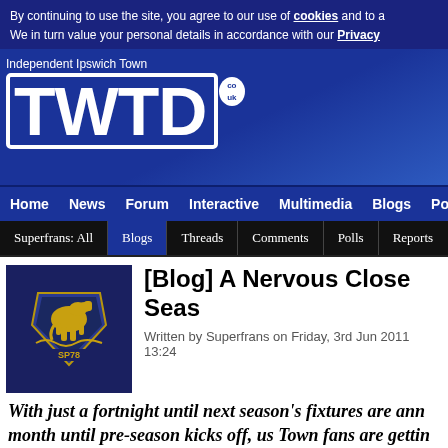By continuing to use the site, you agree to our use of cookies and to a We in turn value your personal details in accordance with our Privacy
Independent Ipswich Town TWTD.co.uk
Home News Forum Interactive Multimedia Blogs Polls Fixtures
Superfrans: All Blogs Threads Comments Polls Reports
[Figure (photo): Close-up photo of Ipswich Town FC badge on a navy blue shirt, with golden horse crest and 'SP78' text]
[Blog] A Nervous Close Seas
Written by Superfrans on Friday, 3rd Jun 2011 13:24
With just a fortnight until next season's fixtures are ann month until pre-season kicks off, us Town fans are gettin understandably twitchy – especially with so many player since the end of last season.